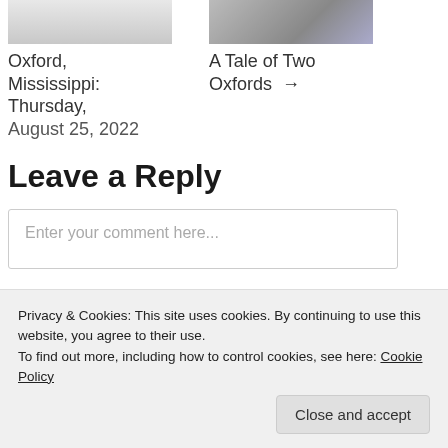[Figure (photo): Thumbnail image on the left showing a chalkboard and vase against a white wall]
Oxford, Mississippi: Thursday, August 25, 2022
[Figure (photo): Thumbnail image on the right showing a group of people]
A Tale of Two Oxfords →
Leave a Reply
Enter your comment here...
Privacy & Cookies: This site uses cookies. By continuing to use this website, you agree to their use.
To find out more, including how to control cookies, see here: Cookie Policy